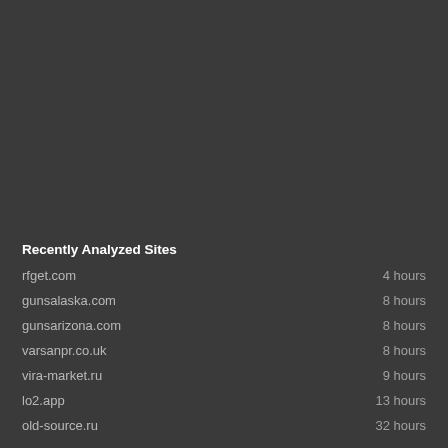Recently Analyzed Sites
rfget.com    4 hours
gunsalaska.com    8 hours
gunsarizona.com    8 hours
varsanpr.co.uk    8 hours
vira-market.ru    9 hours
lo2.app    13 hours
old-source.ru    32 hours